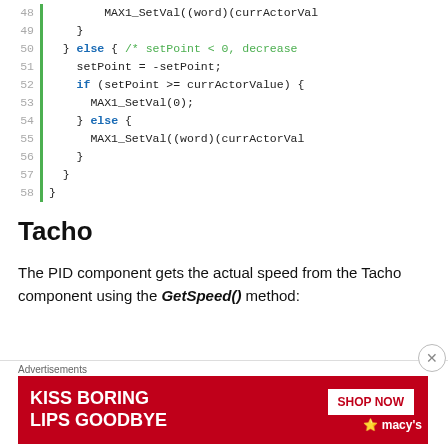[Figure (screenshot): Code block showing lines 48-58 of C-like source code with line numbers, green sidebar, keywords in blue, and a comment in green.]
Tacho
The PID component gets the actual speed from the Tacho component using the GetSpeed() method:
[Figure (screenshot): Advertisement banner: 'KISS BORING LIPS GOODBYE' with SHOP NOW button and Macys logo on red background.]